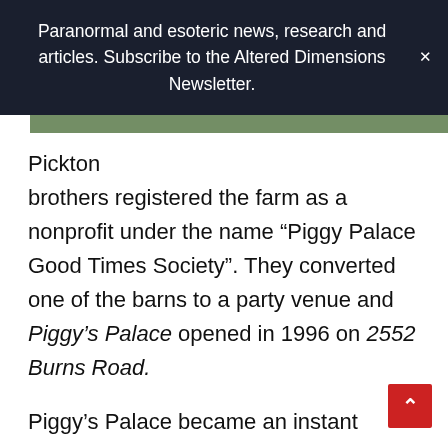Paranormal and esoteric news, research and articles. Subscribe to the Altered Dimensions Newsletter.
Pickton brothers registered the farm as a nonprofit under the name “Piggy Palace Good Times Society”. They converted one of the barns to a party venue and Piggy’s Palace opened in 1996 on 2552 Burns Road.
Piggy’s Palace became an instant legend. The raucous parties and events held at Piggy’s Palace attracted as many as 2,000 people at a time. The Hell’s Angels motorcycle club were frequent visitors as